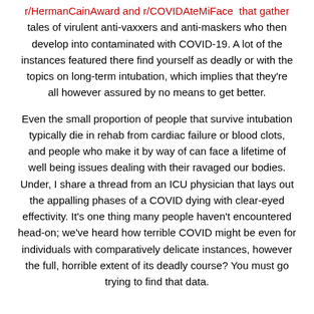r/HermanCainAward and r/COVIDAteMiFace that gather tales of virulent anti-vaxxers and anti-maskers who then develop into contaminated with COVID-19. A lot of the instances featured there find yourself as deadly or with the topics on long-term intubation, which implies that they're all however assured by no means to get better.
Even the small proportion of people that survive intubation typically die in rehab from cardiac failure or blood clots, and people who make it by way of can face a lifetime of well being issues dealing with their ravaged our bodies. Under, I share a thread from an ICU physician that lays out the appalling phases of a COVID dying with clear-eyed effectivity. It's one thing many people haven't encountered head-on; we've heard how terrible COVID might be even for individuals with comparatively delicate instances, however the full, horrible extent of its deadly course? You must go trying to find that data.